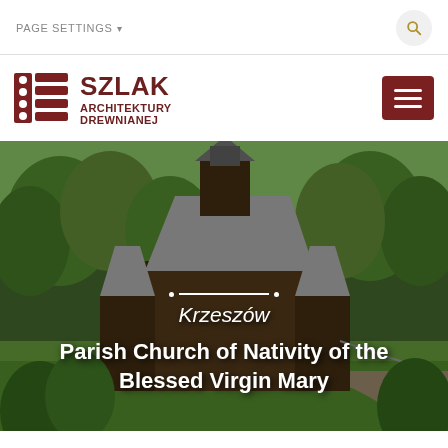PAGE SETTINGS
[Figure (logo): Szlak Architektury Drewnianej logo with stylized wooden log icon and text]
Krzeszów
Parish Church of Nativity of the Blessed Virgin Mary
[Figure (photo): Aerial view of a wooden parish church surrounded by trees and green landscape in Krzeszów, Poland]